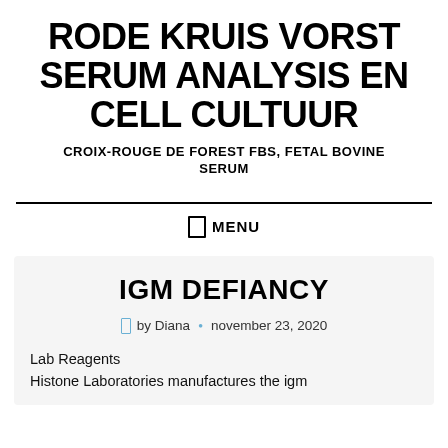RODE KRUIS VORST SERUM ANALYSIS EN CELL CULTUUR
CROIX-ROUGE DE FOREST FBS, FETAL BOVINE SERUM
MENU
IGM DEFIANCY
by Diana  november 23, 2020
Lab Reagents
Histone Laboratories manufactures the igm